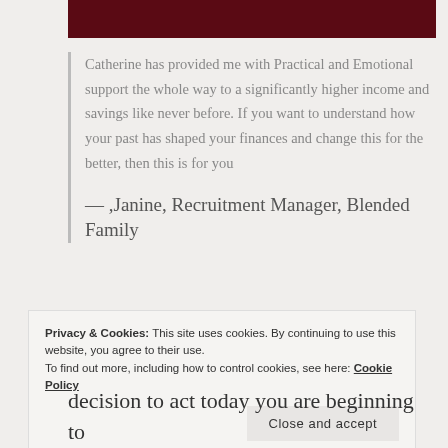[Figure (other): Dark maroon/burgundy rectangular bar at the top of the page]
Catherine has provided me with Practical and Emotional support the whole way to a significantly higher income and savings like never before. If you want to understand how your past has shaped your finances and change this for the better, then this is for you
— ,Janine, Recruitment Manager, Blended Family
Privacy & Cookies: This site uses cookies. By continuing to use this website, you agree to their use.
To find out more, including how to control cookies, see here: Cookie Policy
Close and accept
decision to act today you are beginning to